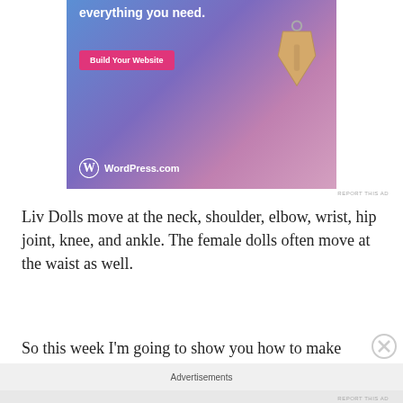[Figure (screenshot): WordPress.com advertisement banner with blue-purple gradient background, price tag graphic, 'Build Your Website' pink button, and WordPress.com logo with text at bottom]
REPORT THIS AD
Liv Dolls move at the neck, shoulder, elbow, wrist, hip joint, knee, and ankle. The female dolls often move at the waist as well.
So this week I'm going to show you how to make
Advertisements
REPORT THIS AD